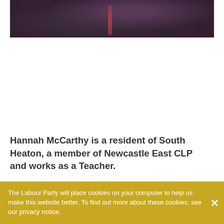[Figure (photo): Partial photo of a person wearing a dark patterned jacket, cropped to show collar/chest area with a red accent visible]
Hannah McCarthy is a resident of South Heaton, a member of Newcastle East CLP and works as a Teacher.
The Labour Party will place cookies on your computer to help us make this website better. To find out more about these cookies, see our privacy notice.